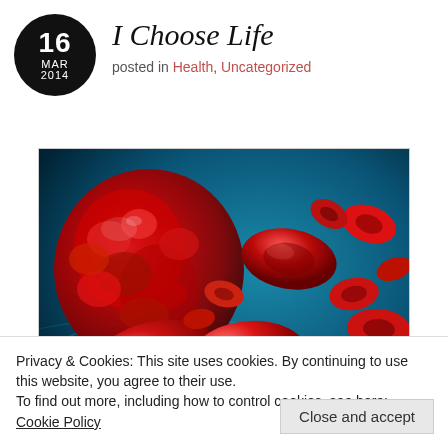I Choose Life
posted in Health, Uncategorized
[Figure (illustration): 3D rendered illustration of red blood cells (erythrocytes) in a blood vessel against a blue background, showing detailed glossy red disc-shaped and irregular cells]
Privacy & Cookies: This site uses cookies. By continuing to use this website, you agree to their use.
To find out more, including how to control cookies, see here: Cookie Policy
Close and accept